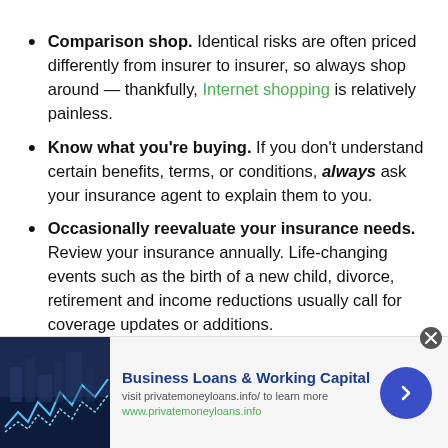Comparison shop. Identical risks are often priced differently from insurer to insurer, so always shop around — thankfully, Internet shopping is relatively painless.
Know what you're buying. If you don't understand certain benefits, terms, or conditions, always ask your insurance agent to explain them to you.
Occasionally reevaluate your insurance needs. Review your insurance annually. Life-changing events such as the birth of a new child, divorce, retirement and income reductions usually call for coverage updates or additions.
[Figure (infographic): Advertisement banner: Business Loans & Working Capital, visit privatemoneyloans.info/ to learn more, www.privatemoneyloans.info, with a stock market chart image on the left and a blue arrow button on the right.]